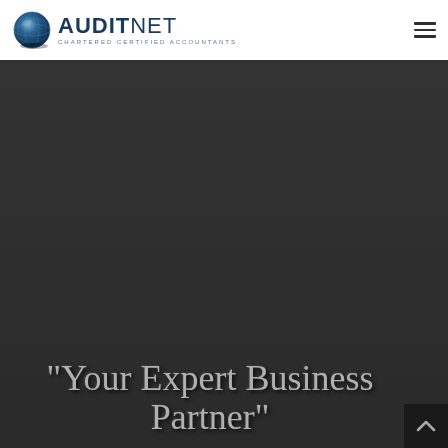[Figure (logo): AuditNet logo with globe icon and text 'AUDITNET - CHARTERED CERTIFIED ACCOUNTANTS']
[Figure (other): Hamburger menu icon (three horizontal lines) in the top-right corner of the header]
[Figure (other): Dark grey background section filling the majority of the page below the header]
[Figure (other): Back-to-top button (dark square with upward chevron) in the bottom-right corner]
"Your Expert Business Partner"